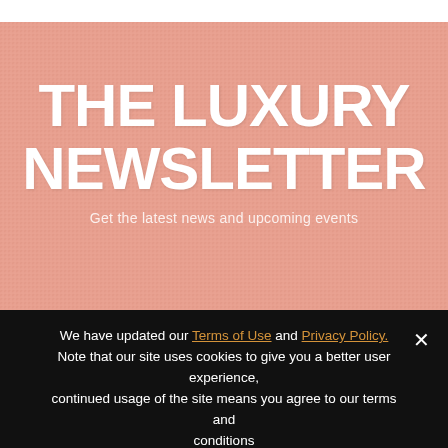[Figure (photo): Textured pink/salmon background resembling stone or fabric with orange/gold highlights. Large white bold text reads 'THE LUXURY NEWSLETTER'. Below is a subtitle 'Get the latest news and upcoming events' and three white input boxes at the bottom.]
THE LUXURY NEWSLETTER
Get the latest news and upcoming events
We have updated our Terms of Use and Privacy Policy. Note that our site uses cookies to give you a better user experience, continued usage of the site means you agree to our terms and conditions
Ok